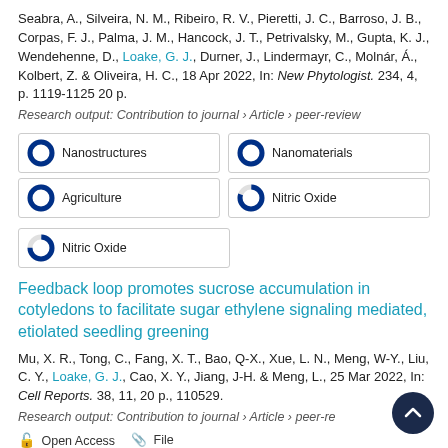Seabra, A., Silveira, N. M., Ribeiro, R. V., Pieretti, J. C., Barroso, J. B., Corpas, F. J., Palma, J. M., Hancock, J. T., Petrivalsky, M., Gupta, K. J., Wendehenne, D., Loake, G. J., Durner, J., Lindermayr, C., Molnár, Á., Kolbert, Z. & Oliveira, H. C., 18 Apr 2022, In: New Phytologist. 234, 4, p. 1119-1125 20 p.
Research output: Contribution to journal › Article › peer-review
Nanostructures 100%
Nanomaterials 100%
Agriculture 100%
Nitric Oxide 80%
Nitric Oxide 75%
Feedback loop promotes sucrose accumulation in cotyledons to facilitate sugar ethylene signaling mediated, etiolated seedling greening
Mu, X. R., Tong, C., Fang, X. T., Bao, Q-X., Xue, L. N., Meng, W-Y., Liu, C. Y., Loake, G. J., Cao, X. Y., Jiang, J-H. & Meng, L., 25 Mar 2022, In: Cell Reports. 38, 11, 20 p., 110529.
Research output: Contribution to journal › Article › peer-review
Open Access   File